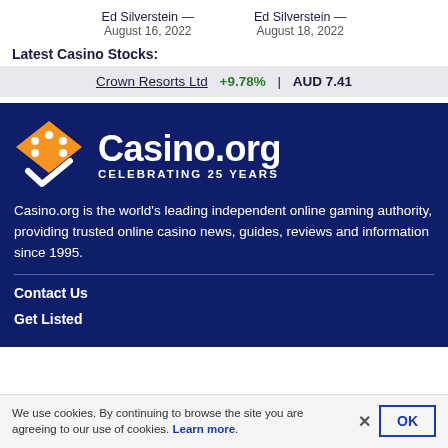Ed Silverstein — August 16, 2022
Ed Silverstein — August 18, 2022
Latest Casino Stocks:
Crown Resorts Ltd +9.78% | AUD 7.41
[Figure (logo): Casino.org logo with orange diamond/card suit icon and white text 'Casino.org' and 'CELEBRATING 25 YEARS' on dark navy background]
Casino.org is the world's leading independent online gaming authority, providing trusted online casino news, guides, reviews and information since 1995.
Contact Us
Get Listed
We use cookies. By continuing to browse the site you are agreeing to our use of cookies. Learn more.